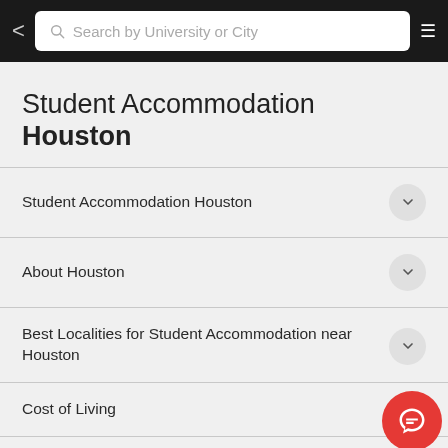Search by University or City
Student Accommodation Houston
Student Accommodation Houston
About Houston
Best Localities for Student Accommodation near Houston
Cost of Living
Student Travel Houston